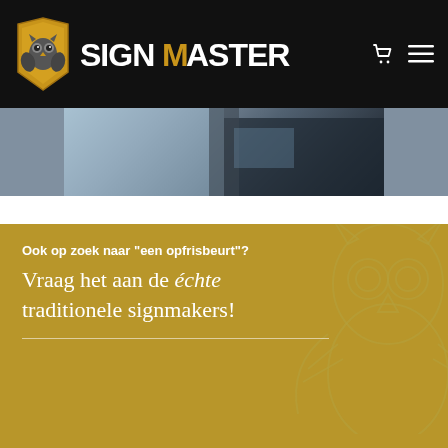SignMasters logo and navigation header
[Figure (photo): Partial view of a building exterior with dark cladding and sky, cropped photo strip]
Ook op zoek naar "een opfrisbeurt"?
Vraag het aan de échte traditionele signmakers!
Om u zo goed mogelijk van dienst te kunnen zijn maakt onze website gebruik van cookies. Door verder te gaan met het browsen op onze website stemt u hiermee in.
Accepteren
Privacybeleid